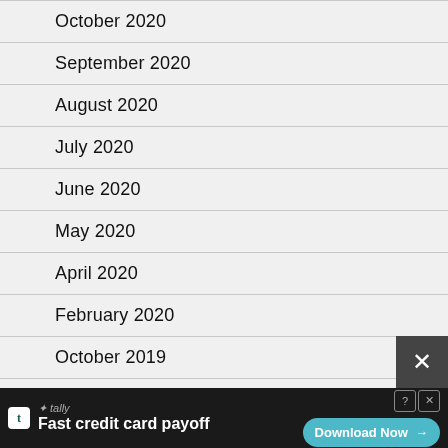October 2020
September 2020
August 2020
July 2020
June 2020
May 2020
April 2020
February 2020
October 2019
July 2019
April 2019
[Figure (screenshot): Advertisement banner for Tally app — Fast credit card payoff — with Download Now button]